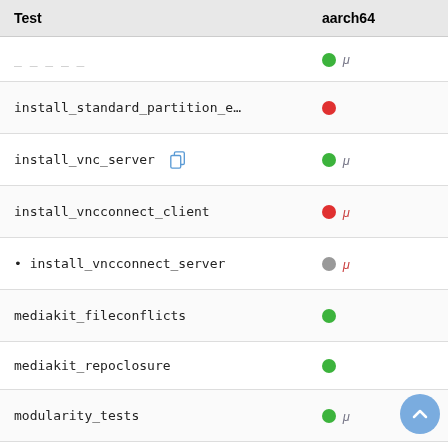| Test | aarch64 |
| --- | --- |
| _ _ | green+mu |
| install_standard_partition_e... | red |
| install_vnc_server [copy] | green+mu |
| install_vncconnect_client | red+mu |
| • install_vncconnect_server | gray+mu-red |
| mediakit_fileconflicts | green |
| mediakit_repoclosure | green |
| modularity_tests | green+mu |
| release_identification | green+mu |
| server_cockpit_basic | red+mu |